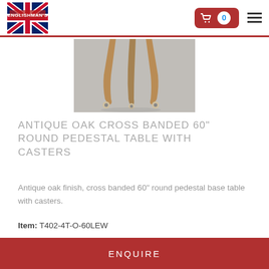Englishman's — cart 0
[Figure (photo): Close-up photo of antique oak pedestal table legs with casters on a grey floor]
ANTIQUE OAK CROSS BANDED 60" ROUND PEDESTAL TABLE WITH CASTERS
Antique oak finish, cross banded 60" round pedestal base table with casters.
Item: T402-4T-O-60LEW
ENQUIRE